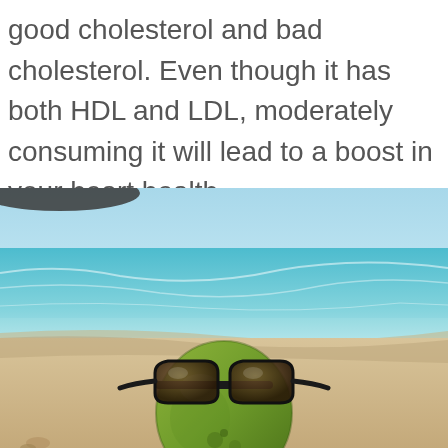good cholesterol and bad cholesterol. Even though it has both HDL and LDL, moderately consuming it will lead to a boost in your heart health.
[Figure (photo): A green coconut wearing dark sunglasses sitting on a sandy beach, with turquoise ocean water and blue sky in the background.]